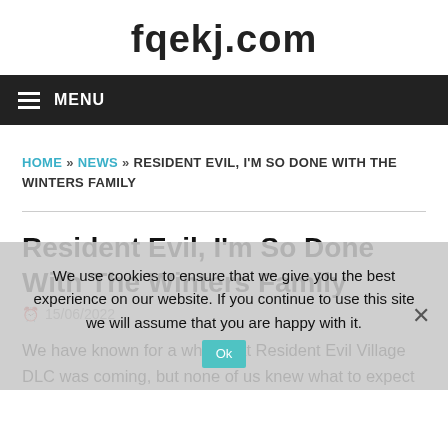fqekj.com
MENU
HOME » NEWS » RESIDENT EVIL, I'M SO DONE WITH THE WINTERS FAMILY
Resident Evil, I'm So Done With The Winters Family
15/06/2022
We use cookies to ensure that we give you the best experience on our website. If you continue to use this site we will assume that you are happy with it.
We have known for a while that Resident Evil Village DLC was coming, but none of us knew what to expect